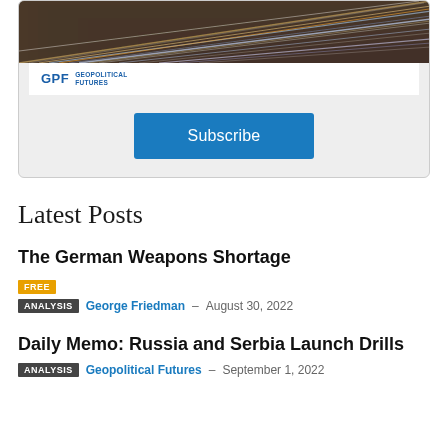[Figure (illustration): GPF Geopolitical Futures subscription card with header image of light trails over a road/bridge, GPF logo, and a Subscribe button]
Latest Posts
The German Weapons Shortage
FREE | ANALYSIS | George Friedman - August 30, 2022
Daily Memo: Russia and Serbia Launch Drills
ANALYSIS | Geopolitical Futures - September 1, 2022